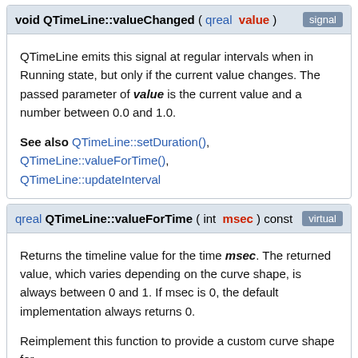void QTimeLine::valueChanged ( qreal value ) [signal]
QTimeLine emits this signal at regular intervals when in Running state, but only if the current value changes. The passed parameter of value is the current value and a number between 0.0 and 1.0.
See also QTimeLine::setDuration(), QTimeLine::valueForTime(), QTimeLine::updateInterval
qreal QTimeLine::valueForTime ( int msec ) const [virtual]
Returns the timeline value for the time msec. The returned value, which varies depending on the curve shape, is always between 0 and 1. If msec is 0, the default implementation always returns 0.
Reimplement this function to provide a custom curve shape for